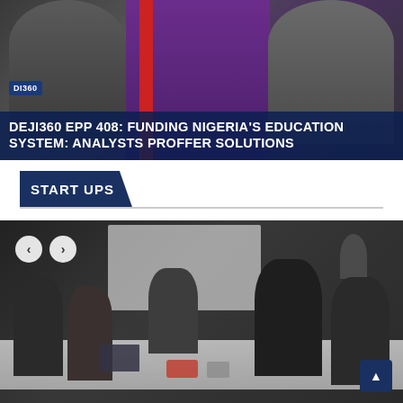[Figure (photo): Video thumbnail showing two men seated at a desk in a TV studio setting with purple and red background. A logo badge reading 'DI360' is visible in the lower left. An overlay text banner reads 'DEJI360 EPP 408: FUNDING NIGERIA'S EDUCATION SYSTEM: ANALYSTS PROFFER SOLUTIONS'.]
DEJI360 EPP 408: FUNDING NIGERIA'S EDUCATION SYSTEM: ANALYSTS PROFFER SOLUTIONS
START UPS
[Figure (photo): Photo of a group of people seated around a table in a meeting or workshop setting. A whiteboard is visible in the background. Navigation arrows (< >) are visible in the top-left corner of the image. A scroll-to-top button is in the bottom-right corner.]